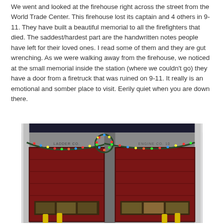We went and looked at the firehouse right across the street from the World Trade Center. This firehouse lost its captain and 4 others in 9-11. They have built a beautiful memorial to all the firefighters that died. The saddest/hardest part are the handwritten notes people have left for their loved ones. I read some of them and they are gut wrenching. As we were walking away from the firehouse, we noticed at the small memorial inside the station (where we couldn't go) they have a door from a firetruck that was ruined on 9-11. It really is an emotional and somber place to visit. Eerily quiet when you are down there.
[Figure (photo): Exterior of a firehouse at night decorated with colorful Christmas lights and garland. Two large red bay doors are visible - one labeled 'LADDER CO.' and another labeled 'ENGINE CO. 10'. Yellow bollards are visible at the bottom of the doors.]